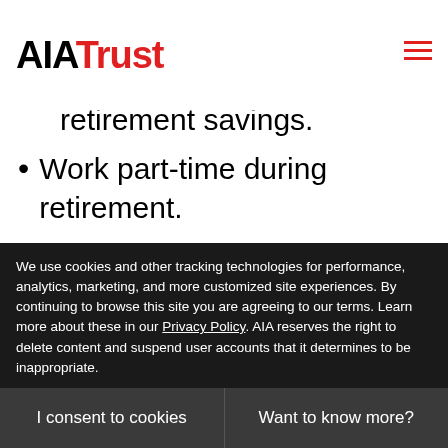AIA Trust
retirement savings.
Work part-time during retirement.
Reduce your standard of living now or in retirement: You may be able to adjust your spending habits now to have money later. Or you may want to consider cutting back in retirement.
We use cookies and other tracking technologies for performance, analytics, marketing, and more customized site experiences. By continuing to browse this site you are agreeing to our terms. Learn more about these in our Privacy Policy. AIA reserves the right to delete content and suspend user accounts that it determines to be inappropriate.
I consent to cookies
Want to know more?